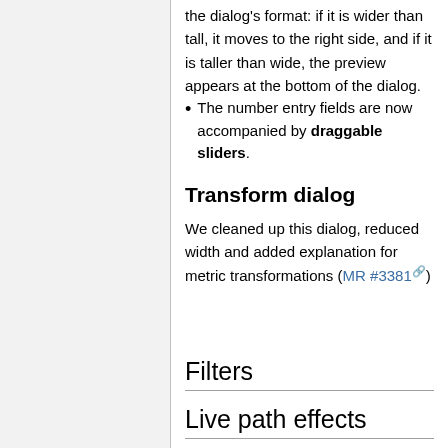the dialog's format: if it is wider than tall, it moves to the right side, and if it is taller than wide, the preview appears at the bottom of the dialog.
The number entry fields are now accompanied by draggable sliders.
Transform dialog
We cleaned up this dialog, reduced width and added explanation for metric transformations (MR #3381)
Filters
Live path effects
perspective/envelope LPE now works on objects with 0 width or height . (edge cases for single line stroke) (MR